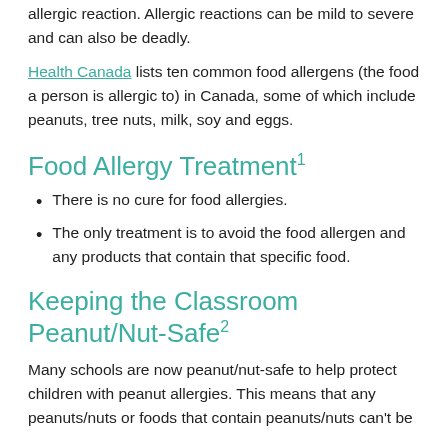allergic reaction. Allergic reactions can be mild to severe and can also be deadly.
Health Canada lists ten common food allergens (the food a person is allergic to) in Canada, some of which include peanuts, tree nuts, milk, soy and eggs.
Food Allergy Treatment¹
There is no cure for food allergies.
The only treatment is to avoid the food allergen and any products that contain that specific food.
Keeping the Classroom Peanut/Nut-Safe²
Many schools are now peanut/nut-safe to help protect children with peanut allergies. This means that any peanuts/nuts or foods that contain peanuts/nuts can't be